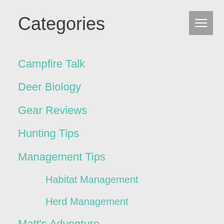Categories
Campfire Talk
Deer Biology
Gear Reviews
Hunting Tips
Management Tips
Habitat Management
Herd Management
Matt's Adventure
Reader Success
Scouting Tips